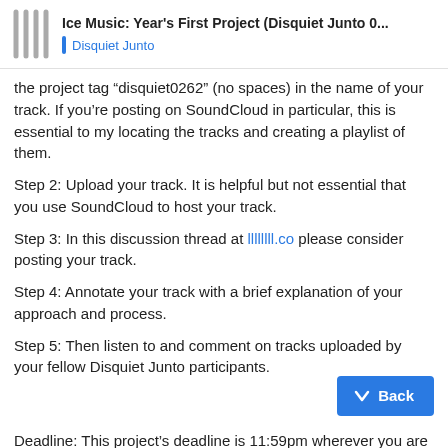Ice Music: Year's First Project (Disquiet Junto 0... | Disquiet Junto
the project tag “disquiet0262” (no spaces) in the name of your track. If you’re posting on SoundCloud in particular, this is essential to my locating the tracks and creating a playlist of them.
Step 2: Upload your track. It is helpful but not essential that you use SoundCloud to host your track.
Step 3: In this discussion thread at llllllll.co please consider posting your track.
Step 4: Annotate your track with a brief explanation of your approach and process.
Step 5: Then listen to and comment on tracks uploaded by your fellow Disquiet Junto participants.
Deadline: This project’s deadline is 11:59pm wherever you are on Monday, January 9, 2017. This project’s... morning, California time, on Thursday, Jan...